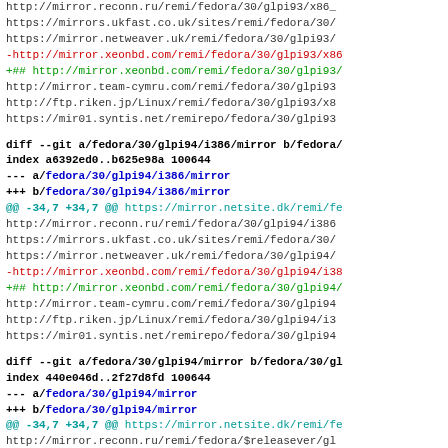http://mirror.reconn.ru/remi/fedora/30/glpi93/x86_
https://mirrors.ukfast.co.uk/sites/remi/fedora/30/
https://mirror.netweaver.uk/remi/fedora/30/glpi93/
-http://mirror.xeonbd.com/remi/fedora/30/glpi93/x86
+## http://mirror.xeonbd.com/remi/fedora/30/glpi93/
http://mirror.team-cymru.com/remi/fedora/30/glpi93
http://ftp.riken.jp/Linux/remi/fedora/30/glpi93/x8
https://mir01.syntis.net/remirepo/fedora/30/glpi93
diff --git a/fedora/30/glpi94/i386/mirror b/fedora/
index a6392ed0..b625e98a 100644
--- a/fedora/30/glpi94/i386/mirror
+++ b/fedora/30/glpi94/i386/mirror
@@ -34,7 +34,7 @@ https://mirror.netsite.dk/remi/fe
http://mirror.reconn.ru/remi/fedora/30/glpi94/i386
https://mirrors.ukfast.co.uk/sites/remi/fedora/30/
https://mirror.netweaver.uk/remi/fedora/30/glpi94/
-http://mirror.xeonbd.com/remi/fedora/30/glpi94/i38
+## http://mirror.xeonbd.com/remi/fedora/30/glpi94/
http://mirror.team-cymru.com/remi/fedora/30/glpi94
http://ftp.riken.jp/Linux/remi/fedora/30/glpi94/i3
https://mir01.syntis.net/remirepo/fedora/30/glpi94
diff --git a/fedora/30/glpi94/mirror b/fedora/30/gl
index 440e046d..2f27d8fd 100644
--- a/fedora/30/glpi94/mirror
+++ b/fedora/30/glpi94/mirror
@@ -34,7 +34,7 @@ https://mirror.netsite.dk/remi/fe
http://mirror.reconn.ru/remi/fedora/$releasever/gl
https://mirrors.ukfast.co.uk/sites/remi/fedora/$re
https://mirror.netweaver.uk/remi/fedora/$releasever